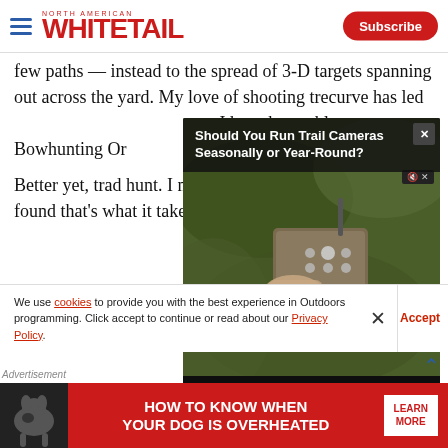North American Whitetail — Subscribe
few paths — instead to the spread of 3-D targets spanning out across the yard. My love of shooting the recurve has led I have been able Bowhunting Or
[Figure (screenshot): Video player overlay showing 'Should You Run Trail Cameras Seasonally or Year-Round?' with trail camera thumbnail image and video controls showing 00:00 / 05:37]
Better yet, trad hunt. I now spe deer do what they do. I've found that's what it takes
We use cookies to provide you with the best experience in Outdoors programming. Click accept to continue or read about our Privacy Policy.
Advertisement
[Figure (photo): Advertisement banner: HOW TO KNOW WHEN YOUR DOG IS OVERHEATED — LEARN MORE]